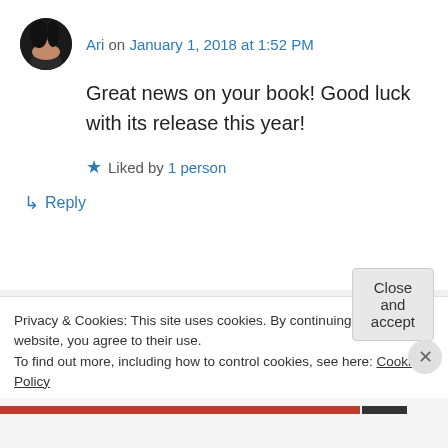Ari on January 1, 2018 at 1:52 PM
Great news on your book! Good luck with its release this year!
Liked by 1 person
↳ Reply
Andrew McDowell on January 1, 2018 at 9:10 PM
Privacy & Cookies: This site uses cookies. By continuing to use this website, you agree to their use.
To find out more, including how to control cookies, see here: Cookie Policy